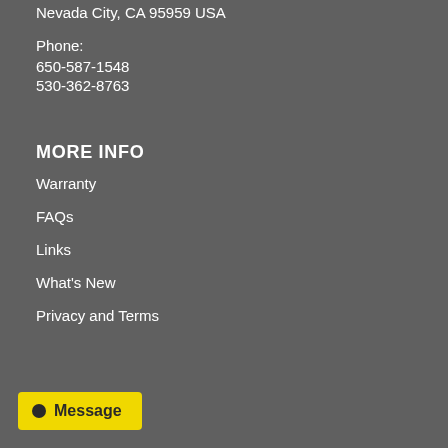Nevada City, CA 95959 USA
Phone:
650-587-1548
530-362-8763
MORE INFO
Warranty
FAQs
Links
What's New
Privacy and Terms
Message